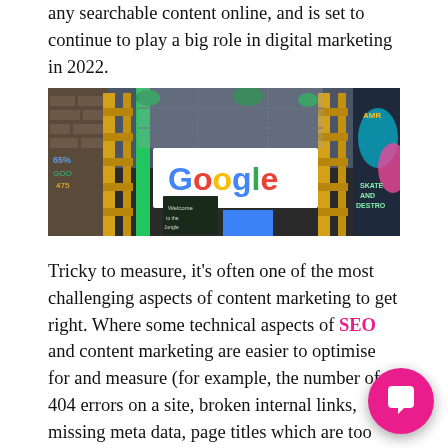any searchable content online, and is set to continue to play a big role in digital marketing in 2022.
[Figure (photo): A colorful urban street scene featuring a Google logo sign surrounded by wooden pallets, graffiti, plants, and bright colors.]
Tricky to measure, it's often one of the most challenging aspects of content marketing to get right. Where some technical aspects of SEO and content marketing are easier to optimise for and measure (for example, the number of 404 errors on a site, broken internal links, missing meta data, page titles which are too long, etc), for content to be considered "good enough to E.A.T", it really is a case of ensuring you are producing content of superb quality and value to your users and target